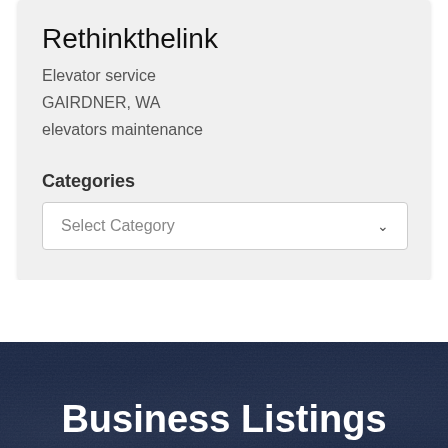Rethinkthelink
Elevator service
GAIRDNER, WA
elevators maintenance
Categories
Select Category
Business Listings